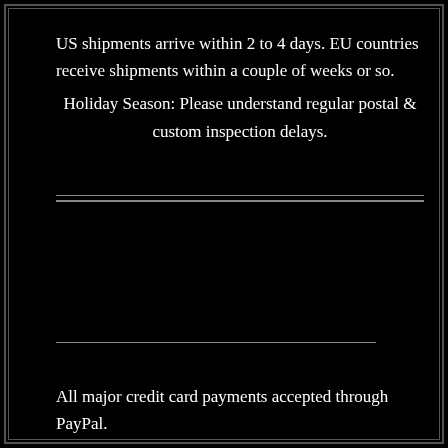US shipments arrive within 2 to 4 days. EU countries receive shipments within a couple of weeks or so.
Holiday Season: Please understand regular postal & custom inspection delays.
All major credit card payments accepted through PayPal.